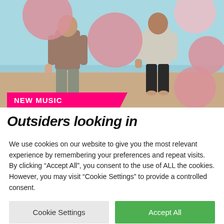[Figure (photo): Two people walking on a beach with large pink and white balloons floating around them. Light blue sky in background. Pink NEW MUSIC badge overlay at bottom left.]
Outsiders looking in
We use cookies on our website to give you the most relevant experience by remembering your preferences and repeat visits. By clicking “Accept All”, you consent to the use of ALL the cookies. However, you may visit “Cookie Settings” to provide a controlled consent.